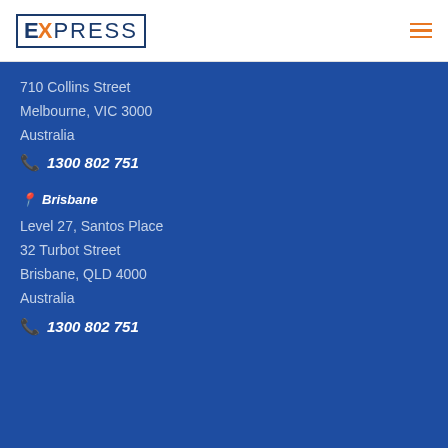EXPRESS
710 Collins Street
Melbourne, VIC 3000
Australia
1300 802 751
Brisbane
Level 27, Santos Place
32 Turbot Street
Brisbane, QLD 4000
Australia
1300 802 751